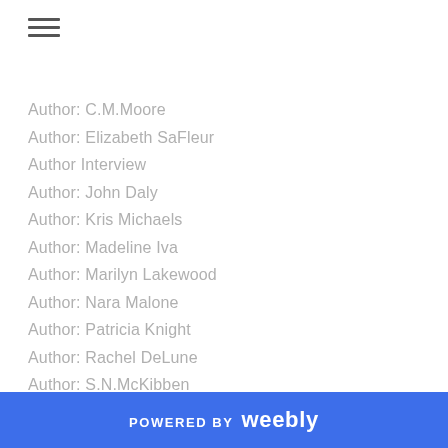Author: C.M.Moore
Author: Elizabeth SaFleur
Author Interview
Author: John Daly
Author: Kris Michaels
Author: Madeline Iva
Author: Marilyn Lakewood
Author: Nara Malone
Author: Patricia Knight
Author: Rachel DeLune
Author: S.N.McKibben
Author: ULRIKE
Author: ULRIKE
Blog Tour
Bookplanning101
Book Release
POWERED BY weebly